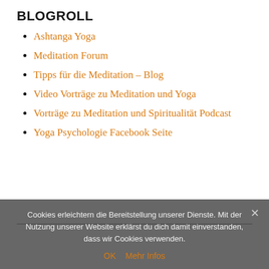BLOGROLL
Ashtanga Yoga
Meditation Forum
Tipps für die Meditation – Blog
Video Vorträge zu Meditation und Yoga
Vorträge zu Meditation und Spiritualität Podcast
Yoga Psychologie Facebook Seite
Cookies erleichtern die Bereitstellung unserer Dienste. Mit der Nutzung unserer Website erklärst du dich damit einverstanden, dass wir Cookies verwenden.
OK  Mehr Infos